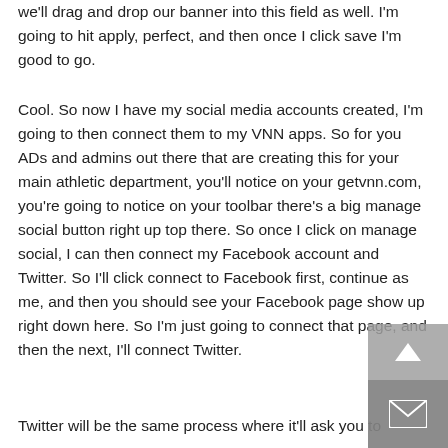we'll drag and drop our banner into this field as well. I'm going to hit apply, perfect, and then once I click save I'm good to go.
Cool. So now I have my social media accounts created, I'm going to then connect them to my VNN apps. So for you ADs and admins out there that are creating this for your main athletic department, you'll notice on your getvnn.com, you're going to notice on your toolbar there's a big manage social button right up top there. So once I click on manage social, I can then connect my Facebook account and Twitter. So I'll click connect to Facebook first, continue as me, and then you should see your Facebook page show up right down here. So I'm just going to connect that page, and then the next, I'll connect Twitter.
Twitter will be the same process where it'll ask you to